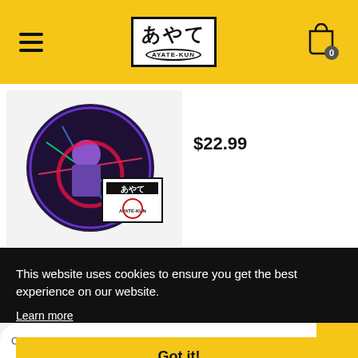あやて AYATE-KUN header with hamburger menu and cart showing 0 items
[Figure (photo): Round button/pin merchandise with anime character art and Ayate-kun logo overlay, product image on light gray background]
$22.99
This website uses cookies to ensure you get the best experience on our website.
Learn more
Got it!
Oth